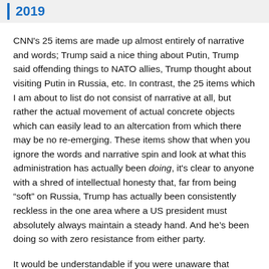2019
CNN's 25 items are made up almost entirely of narrative and words; Trump said a nice thing about Putin, Trump said offending things to NATO allies, Trump thought about visiting Putin in Russia, etc. In contrast, the 25 items which I am about to list do not consist of narrative at all, but rather the actual movement of actual concrete objects which can easily lead to an altercation from which there may be no re-emerging. These items show that when you ignore the words and narrative spin and look at what this administration has actually been doing, it's clear to anyone with a shred of intellectual honesty that, far from being “soft” on Russia, Trump has actually been consistently reckless in the one area where a US president must absolutely always maintain a steady hand. And he's been doing so with zero resistance from either party.
It would be understandable if you were unaware that Trump has been escalating tensions with Moscow more than any other president since the fall of the Berlin Wall.